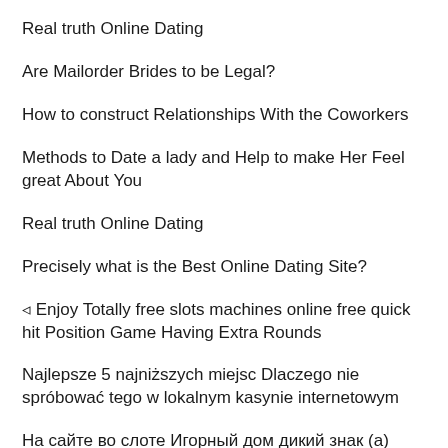Real truth Online Dating
Are Mailorder Brides to be Legal?
How to construct Relationships With the Coworkers
Methods to Date a lady and Help to make Her Feel great About You
Real truth Online Dating
Precisely what is the Best Online Dating Site?
⚡ Enjoy Totally free slots machines online free quick hit Position Game Having Extra Rounds
Najlepsze 5 najniższych miejsc Dlaczego nie spróbować tego w lokalnym kasynie internetowym
На сайте во слоте Игорный дом дикий знак (а) также знак разброса клуб Вулкан Удачи были соединены на один-